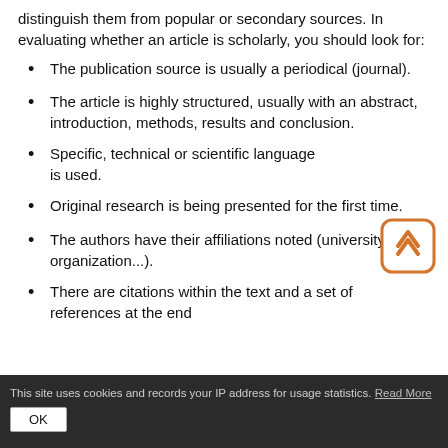distinguish them from popular or secondary sources. In evaluating whether an article is scholarly, you should look for:
The publication source is usually a periodical (journal).
The article is highly structured, usually with an abstract, introduction, methods, results and conclusion.
Specific, technical or scientific language is used.
Original research is being presented for the first time.
The authors have their affiliations noted (university, organization...).
There are citations within the text and a set of references at the end
This site uses cookies and records your IP address for usage statistics. Read More
OK